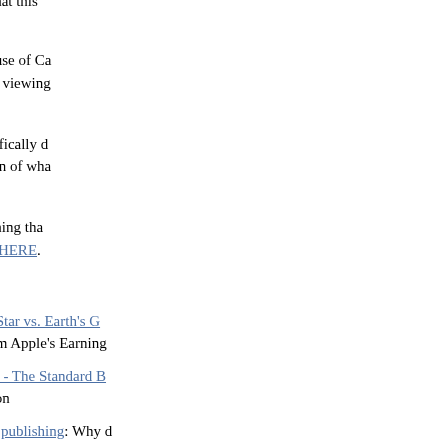not, and Hastings clearly groks that this is **native experiences.**
This is also why a show like 'House of Ca... entire Season 1. In Netflix, binge viewing... right?
Along these lines, Hastings specifically d... Netflix even having a fixed notion of wha... in their model.
It's all about being native, something tha... extensively about, most recently HERE.
Related:
Apple's North Star vs. Earth's G... Takeaways from Apple's Earning...
Built-to-Thrive - The Standard B... Google, Amazon
Mobile 'native' publishing: Why d... must evolve in the post-PC era
Netflix Ir Letter